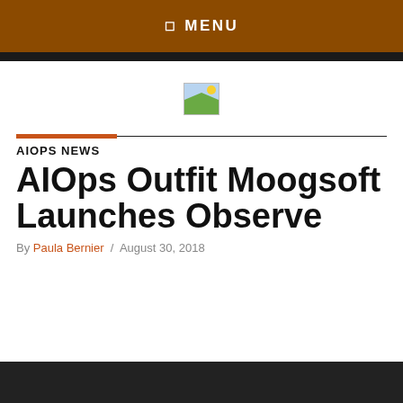☰ MENU
[Figure (logo): Small logo image placeholder (broken image icon) centered below navigation bar]
AIOPS NEWS
AIOps Outfit Moogsoft Launches Observe
By Paula Bernier / August 30, 2018
[Figure (photo): Dark photograph strip at bottom of page]